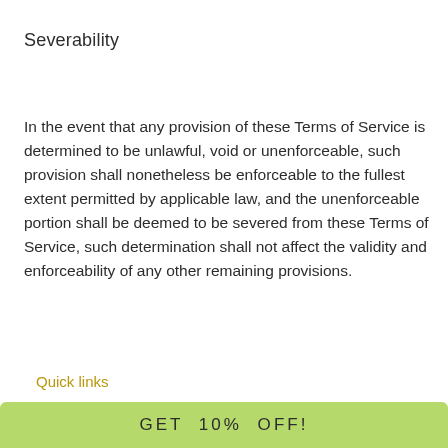Severability
In the event that any provision of these Terms of Service is determined to be unlawful, void or unenforceable, such provision shall nonetheless be enforceable to the fullest extent permitted by applicable law, and the unenforceable portion shall be deemed to be severed from these Terms of Service, such determination shall not affect the validity and enforceability of any other remaining provisions.
Quick links
GET  10%  OFF!